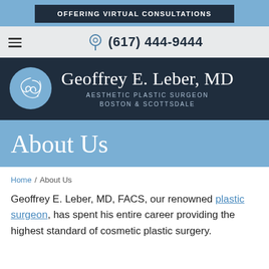OFFERING VIRTUAL CONSULTATIONS
(617) 444-9444
[Figure (logo): Geoffrey E. Leber MD logo with circular monogram and text: Geoffrey E. Leber, MD / Aesthetic Plastic Surgeon Boston & Scottsdale]
About Us
Home / About Us
Geoffrey E. Leber, MD, FACS, our renowned plastic surgeon, has spent his entire career providing the highest standard of cosmetic plastic surgery.